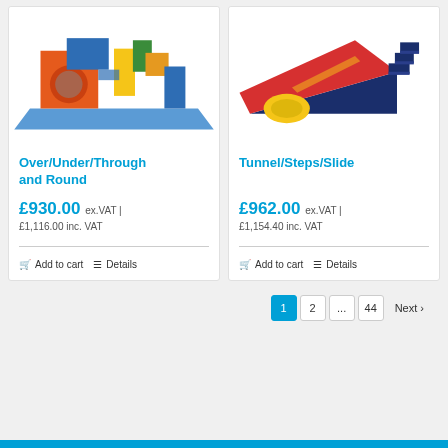[Figure (photo): Colorful foam play equipment set with tunnel, over/under/through elements on a blue mat - Over/Under/Through and Round product]
Over/Under/Through and Round
£930.00 ex.VAT | £1,116.00 inc. VAT
Add to cart  Details
[Figure (photo): Colorful foam Tunnel/Steps/Slide play equipment with red, blue, yellow and dark blue pieces]
Tunnel/Steps/Slide
£962.00 ex.VAT | £1,154.40 inc. VAT
Add to cart  Details
1  2  ...  44  Next >